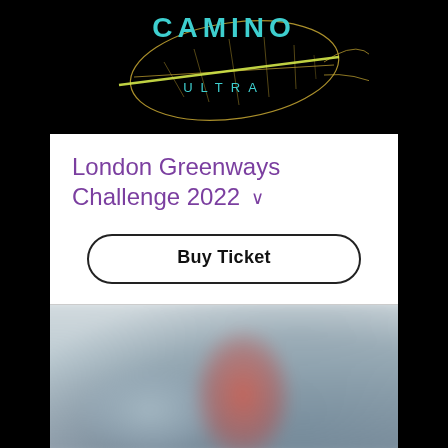[Figure (logo): Camino Ultra logo with stylized leaf outline on black background, text 'CAMINO ULTRA' in teal/cyan lettering with yellow diagonal line]
London Greenways Challenge 2022
Buy Ticket
[Figure (photo): Blurred outdoor photo showing a person in a red/pink top against a grey/blue outdoor background]